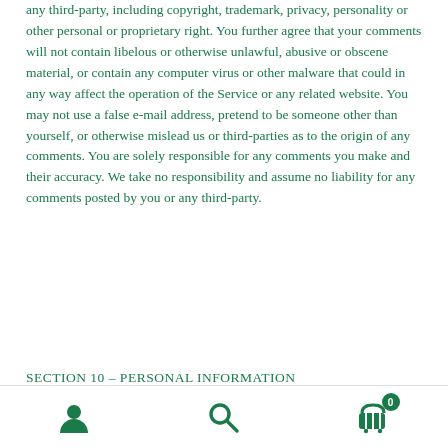any third-party, including copyright, trademark, privacy, personality or other personal or proprietary right. You further agree that your comments will not contain libelous or otherwise unlawful, abusive or obscene material, or contain any computer virus or other malware that could in any way affect the operation of the Service or any related website. You may not use a false e-mail address, pretend to be someone other than yourself, or otherwise mislead us or third-parties as to the origin of any comments. You are solely responsible for any comments you make and their accuracy. We take no responsibility and assume no liability for any comments posted by you or any third-party.
SECTION 10 – PERSONAL INFORMATION
Navigation icons: user, search, cart (0)